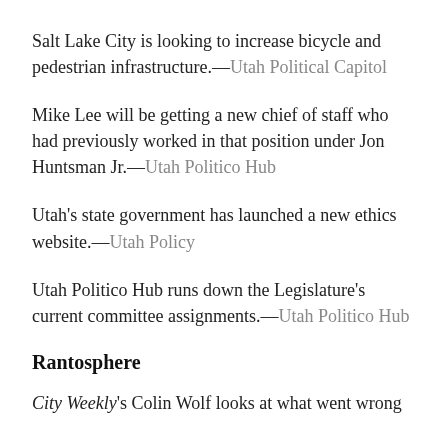Salt Lake City is looking to increase bicycle and pedestrian infrastructure.—Utah Political Capitol
Mike Lee will be getting a new chief of staff who had previously worked in that position under Jon Huntsman Jr.—Utah Politico Hub
Utah's state government has launched a new ethics website.—Utah Policy
Utah Politico Hub runs down the Legislature's current committee assignments.—Utah Politico Hub
Rantosphere
City Weekly's Colin Wolf looks at what went wrong